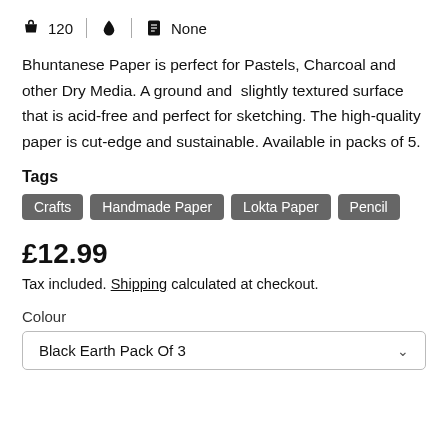120 | None
Bhuntanese Paper is perfect for Pastels, Charcoal and other Dry Media. A ground and slightly textured surface that is acid-free and perfect for sketching. The high-quality paper is cut-edge and sustainable. Available in packs of 5.
Tags
Crafts
Handmade Paper
Lokta Paper
Pencil
£12.99
Tax included. Shipping calculated at checkout.
Colour
Black Earth Pack Of 3